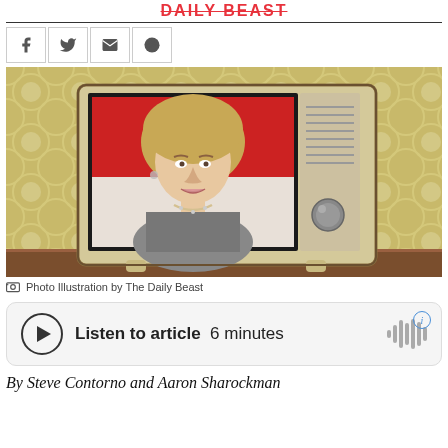DAILY BEAST
[Figure (photo): Photo illustration showing a vintage television set on a wooden floor against a retro patterned wallpaper background, with an image of Hillary Clinton speaking displayed on the TV screen.]
Photo Illustration by The Daily Beast
[Figure (infographic): Audio player widget: play button, 'Listen to article 6 minutes', waveform icon, and info icon.]
By Steve Contorno and Aaron Sharockman